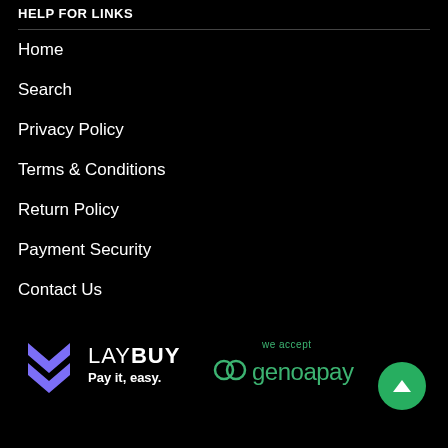HELP FOR LINKS
Home
Search
Privacy Policy
Terms & Conditions
Return Policy
Payment Security
Contact Us
[Figure (logo): Laybuy logo with purple chevron/heart icon and text LAYBUY Pay it, easy.]
[Figure (logo): we accept genoapay logo in teal/green text]